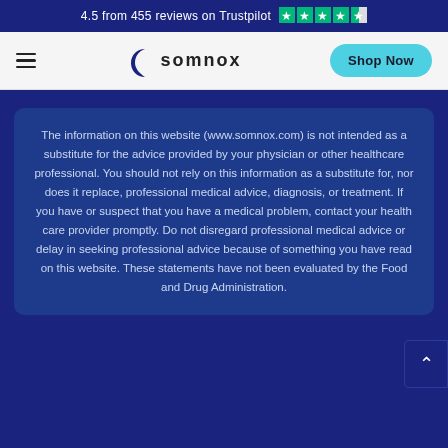4.5 from 455 reviews on Trustpilot ★★★★½
[Figure (logo): Somnox logo with crescent moon icon and 'somnox' text, plus hamburger menu and 'Shop Now' button]
The information on this website (www.somnox.com) is not intended as a substitute for the advice provided by your physician or other healthcare professional. You should not rely on this information as a substitute for, nor does it replace, professional medical advice, diagnosis, or treatment. If you have or suspect that you have a medical problem, contact your health care provider promptly. Do not disregard professional medical advice or delay in seeking professional advice because of something you have read on this website. These statements have not been evaluated by the Food and Drug Administration.